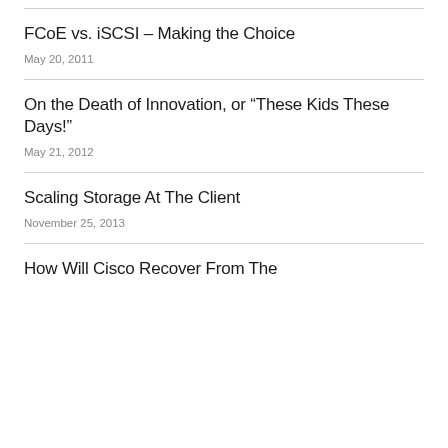FCoE vs. iSCSI – Making the Choice
May 20, 2011
On the Death of Innovation, or “These Kids These Days!”
May 21, 2012
Scaling Storage At The Client
November 25, 2013
How Will Cisco Recover From The